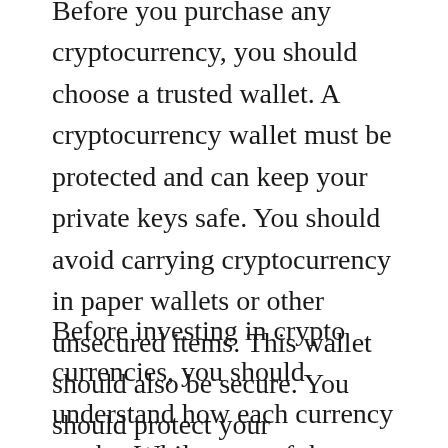Before you purchase any cryptocurrency, you should choose a trusted wallet. A cryptocurrency wallet must be protected and can keep your private keys safe. You should avoid carrying cryptocurrency in paper wallets or other unsecured items. This wallet should also be secure. You should protect your cryptocurrency from theft or loss by following security rules. For example, you should not carry your wallet around in an unprotected paper bag. Moreover, if you do decide to purchase cryptocurrency, you should be careful not to lose it.
Before investing in crypto currencies, you should understand how each currency works. While most of them don't trade against traditional currencies, some are trading against the others. The competition...